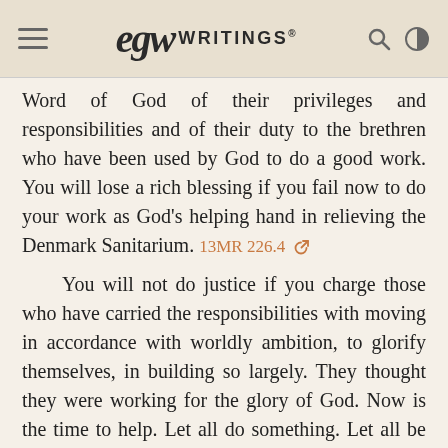EGW WRITINGS®
Word of God of their privileges and responsibilities and of their duty to the brethren who have been used by God to do a good work. You will lose a rich blessing if you fail now to do your work as God's helping hand in relieving the Denmark Sanitarium. 13MR 226.4
You will not do justice if you charge those who have carried the responsibilities with moving in accordance with worldly ambition, to glorify themselves, in building so largely. They thought they were working for the glory of God. Now is the time to help. Let all do something. Let all be as God's helping hand, lifting wholeheartedly. Encourage the oppressed to trust in the Lord, to have that courage which will not fail, but go forward. Let all do as they